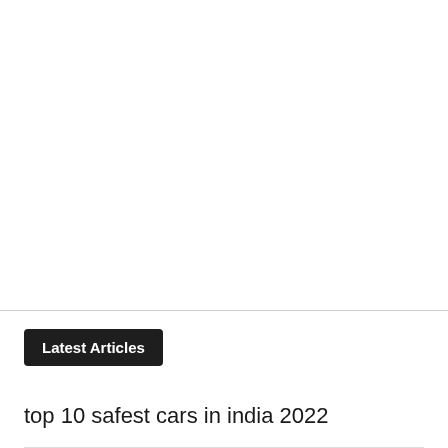Latest Articles
top 10 safest cars in india 2022
hydrogen fuel cell vehicles in india